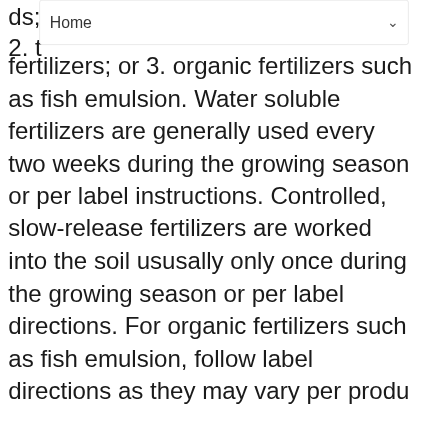Home
fertilizers; or 3. organic fertilizers such as fish emulsion. Water soluble fertilizers are generally used every two weeks during the growing season or per label instructions. Controlled, slow-release fertilizers are worked into the soil ususally only once during the growing season or per label directions. For organic fertilizers such as fish emulsion, follow label directions as they may vary per product.
How-to : Fertilizing Houseplants
Houseplants may be fertilized with: 1. water-soluble, quick release fertilizers; 2. temperature controlled slow-release fertilizers;